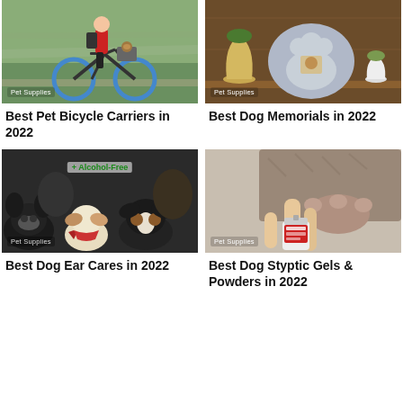[Figure (photo): Person riding bicycle with small dog in front basket carrier, motion blur background]
Pet Supplies
Best Pet Bicycle Carriers in 2022
[Figure (photo): Dog memorial paw print photo frame on wooden shelf with vase and plants]
Pet Supplies
Best Dog Memorials in 2022
[Figure (photo): Multiple dogs sitting together, text overlay says + Alcohol-Free]
Pet Supplies
Best Dog Ear Cares in 2022
[Figure (photo): Hand applying styptic gel/powder product to dog paw nail]
Pet Supplies
Best Dog Styptic Gels & Powders in 2022